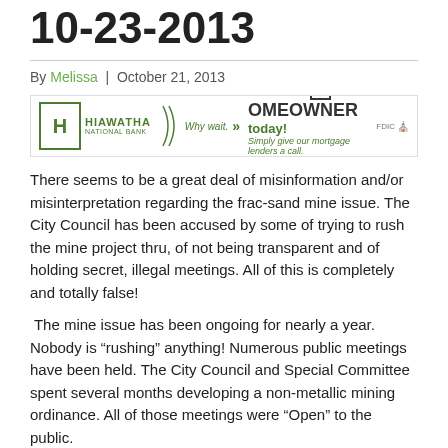10-23-2013
By Melissa | October 21, 2013
[Figure (other): Hiawatha National Bank advertisement banner: 'Become a HOMEOWNER today! Simply give our mortgage lenders a call.']
There seems to be a great deal of misinformation and/or misinterpretation regarding the frac-sand mine issue. The City Council has been accused by some of trying to rush the mine project thru, of not being transparent and of holding secret, illegal meetings. All of this is completely and totally false!
The mine issue has been ongoing for nearly a year. Nobody is “rushing” anything! Numerous public meetings have been held. The City Council and Special Committee spent several months developing a non-metallic mining ordinance. All of those meetings were “Open” to the public.
Now that the ordinance has been approved, we can begin negotiations with Vista Sands to determine what exactly they are...